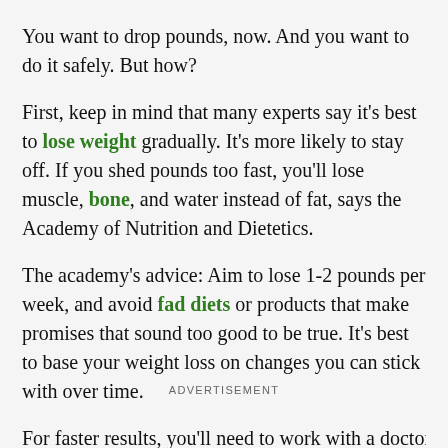You want to drop pounds, now. And you want to do it safely. But how?
First, keep in mind that many experts say it’s best to lose weight gradually. It’s more likely to stay off. If you shed pounds too fast, you’ll lose muscle, bone, and water instead of fat, says the Academy of Nutrition and Dietetics.
The academy’s advice: Aim to lose 1-2 pounds per week, and avoid fad diets or products that make promises that sound too good to be true. It’s best to base your weight loss on changes you can stick with over time.
For faster results, you’ll need to work with a doctor to
ADVERTISEMENT